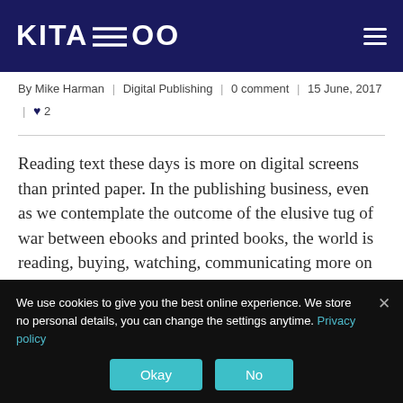KITABOO
By Mike Harman | Digital Publishing | 0 comment | 15 June, 2017 | ♥ 2
Reading text these days is more on digital screens than printed paper. In the publishing business, even as we contemplate the outcome of the elusive tug of war between ebooks and printed books, the world is reading, buying, watching, communicating more on digital & mobile than ever before.
Are your books & titles still invisible to billions of mobile users?
We use cookies to give you the best online experience. We store no personal details, you can change the settings anytime. Privacy policy